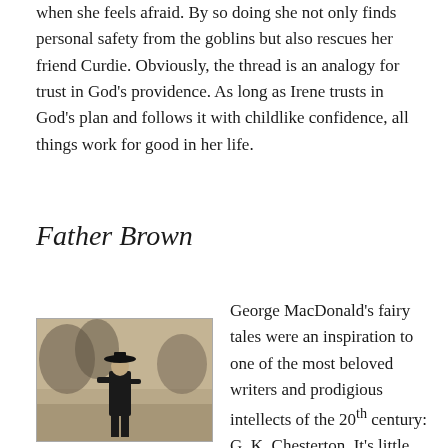when she feels afraid. By so doing she not only finds personal safety from the goblins but also rescues her friend Curdie. Obviously, the thread is an analogy for trust in God’s providence. As long as Irene trusts in God’s plan and follows it with childlike confidence, all things work for good in her life.
Father Brown
[Figure (photo): Black and white photograph of a figure in a dark coat and wide-brimmed hat standing outdoors near trees]
George MacDonald’s fairy tales were an inspiration to one of the most beloved writers and prodigious intellects of the 20th century: G. K. Chesterton. It’s little surprise to see Chesterton repeating